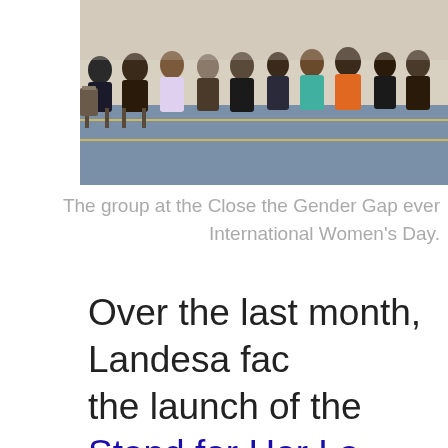[Figure (photo): Group of people seated in chairs at the Close the Gender Gap event on International Women's Day]
The group at the Close the Gender Gap event on International Women's Day.
Over the last month, Landesa facilitated the launch of the Stand for Her Land campaign with coalition strategy workshops and field visits in Senegal, Uganda, and a regional and global event in Nairobi to amplify the sta...